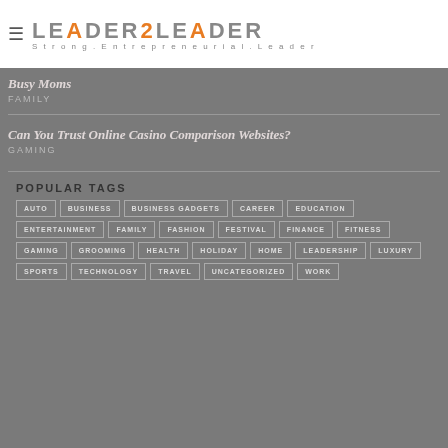[Figure (logo): Leader2Leader logo with hamburger menu icon. Logo text reads LEADER2LEADER in grey with orange '2'. Subtitle: Strong.Entrepreneurial.Leader]
Busy Moms
FAMILY
Can You Trust Online Casino Comparison Websites?
GAMING
POPULAR TAGS
AUTO
BUSINESS
BUSINESS GADGETS
CAREER
EDUCATION
ENTERTAINMENT
FAMILY
FASHION
FESTIVAL
FINANCE
FITNESS
GAMING
GROOMING
HEALTH
HOLIDAY
HOME
LEADERSHIP
LUXURY
SPORTS
TECHNOLOGY
TRAVEL
UNCATEGORIZED
WORK